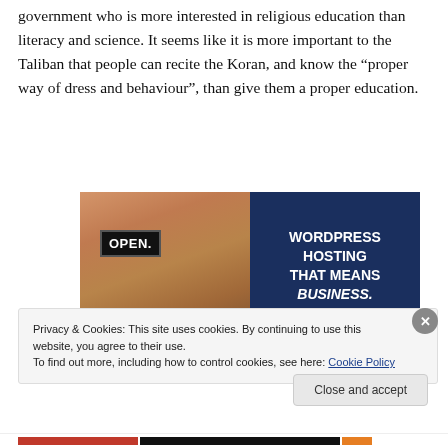government who is more interested in religious education than literacy and science. It seems like it is more important to the Taliban that people can recite the Koran, and know the “proper way of dress and behaviour”, than give them a proper education.
[Figure (advertisement): WordPress Hosting advertisement showing a woman holding an OPEN sign, with text WORDPRESS HOSTING THAT MEANS BUSINESS.]
Privacy & Cookies: This site uses cookies. By continuing to use this website, you agree to their use.
To find out more, including how to control cookies, see here: Cookie Policy
Close and accept